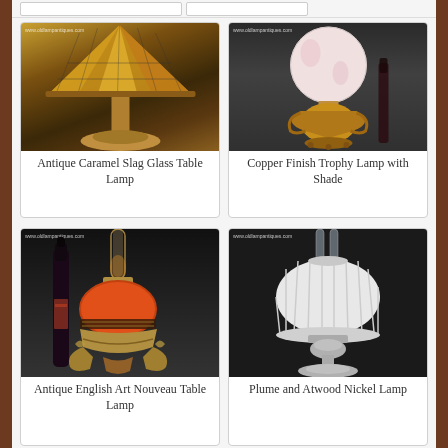[Figure (photo): Antique Caramel Slag Glass Table Lamp - lamp with ornate caramel colored slag glass shade and brass base]
Antique Caramel Slag Glass Table Lamp
[Figure (photo): Copper Finish Trophy Lamp with Shade - lamp with white globe shade and copper/brass trophy-style base]
Copper Finish Trophy Lamp with Shade
[Figure (photo): Antique English Art Nouveau Table Lamp - oil lamp with orange globe body and ornate Art Nouveau base, with wine bottle for scale]
Antique English Art Nouveau Table Lamp
[Figure (photo): Plume and Atwood Nickel Lamp - oil lamp with white ribbed glass shade and nickel-plated base]
Plume and Atwood Nickel Lamp